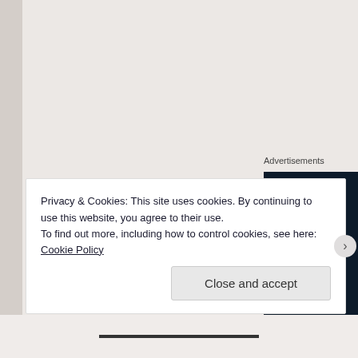[Figure (screenshot): Advertisement banner with dark navy background showing text 'Create s... polls, qu... and for...' with a pink 'Start now' button. Partially cropped on the right side.]
Advertisements
Privacy & Cookies: This site uses cookies. By continuing to use this website, you agree to their use.
To find out more, including how to control cookies, see here: Cookie Policy
Close and accept